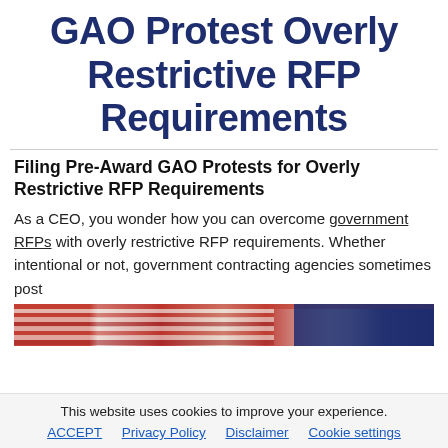GAO Protest Overly Restrictive RFP Requirements
Filing Pre-Award GAO Protests for Overly Restrictive RFP Requirements
As a CEO, you wonder how you can overcome government RFPs with overly restrictive RFP requirements. Whether intentional or not, government contracting agencies sometimes post
[Figure (photo): Partial image of an American flag showing red, white, and blue colors]
This website uses cookies to improve your experience.
ACCEPT   Privacy Policy   Disclaimer   Cookie settings